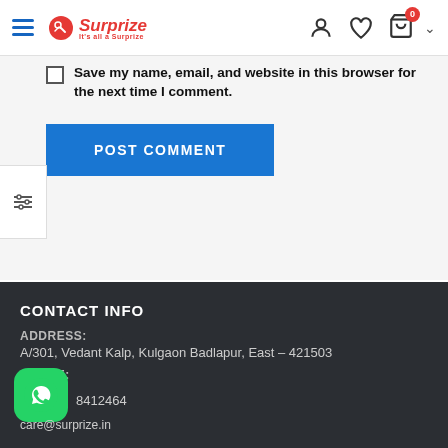Surprize — navigation header with hamburger menu, logo, user/wishlist/cart icons
Save my name, email, and website in this browser for the next time I comment.
POST COMMENT
CONTACT INFO
ADDRESS:
A/301, Vedant Kalp, Kulgaon Badlapur, East – 421503
PHONE:
8412464
care@surprize.in